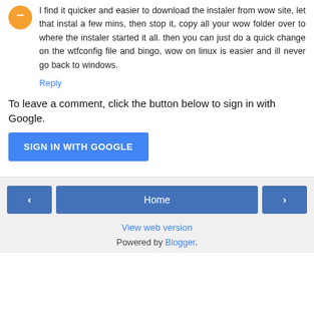I find it quicker and easier to download the instaler from wow site, let that instal a few mins, then stop it, copy all your wow folder over to where the instaler started it all. then you can just do a quick change on the wtfconfig file and bingo, wow on linux is easier and ill never go back to windows.
Reply
To leave a comment, click the button below to sign in with Google.
[Figure (other): SIGN IN WITH GOOGLE button]
< Home > View web version Powered by Blogger.